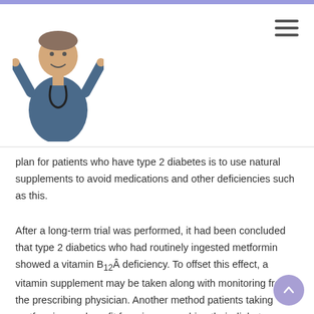Header with doctor logo and hamburger menu
plan for patients who have type 2 diabetes is to use natural supplements to avoid medications and other deficiencies such as this.
After a long-term trial was performed, it had been concluded that type 2 diabetics who had routinely ingested metformin showed a vitamin B12Â deficiency. To offset this effect, a vitamin supplement may be taken along with monitoring from the prescribing physician. Another method patients taking metformin may benefit from is approaching their diabetes management from a functional approach. A functional approach will help their body naturally repair itself with the end goal of stopping metformin medication if approved by